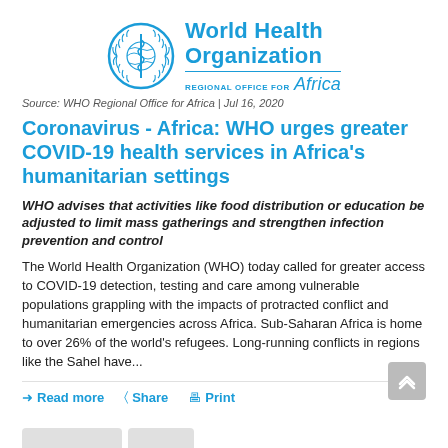[Figure (logo): WHO World Health Organization logo with emblem and text, Regional Office for Africa]
Source: WHO Regional Office for Africa | Jul 16, 2020
Coronavirus - Africa: WHO urges greater COVID-19 health services in Africa's humanitarian settings
WHO advises that activities like food distribution or education be adjusted to limit mass gatherings and strengthen infection prevention and control
The World Health Organization (WHO) today called for greater access to COVID-19 detection, testing and care among vulnerable populations grappling with the impacts of protracted conflict and humanitarian emergencies across Africa. Sub-Saharan Africa is home to over 26% of the world's refugees. Long-running conflicts in regions like the Sahel have...
Read more
Share
Print